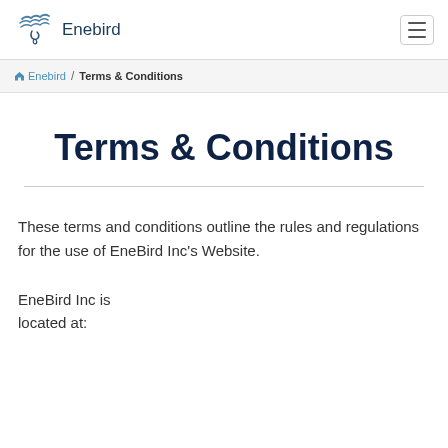Enebird
Enebird / Terms & Conditions
Terms & Conditions
These terms and conditions outline the rules and regulations for the use of EneBird Inc's Website.
EneBird Inc is located at: